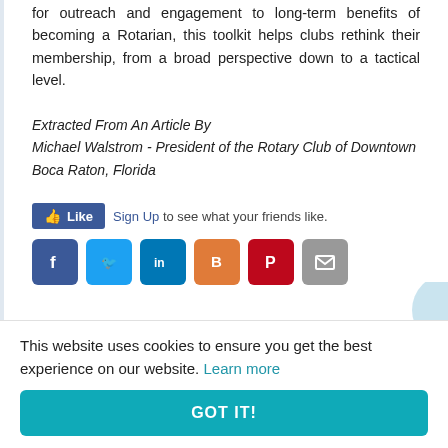for outreach and engagement to long-term benefits of becoming a Rotarian, this toolkit helps clubs rethink their membership, from a broad perspective down to a tactical level.
Extracted From An Article By Michael Walstrom - President of the Rotary Club of Downtown Boca Raton, Florida
[Figure (other): Facebook Like button and social sharing icons (Facebook, Twitter, LinkedIn, Blogger, Pinterest, Email)]
This website uses cookies to ensure you get the best experience on our website. Learn more
GOT IT!